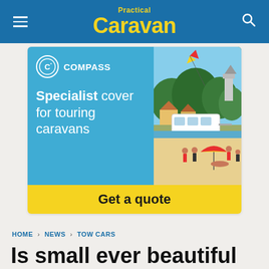Practical Caravan
[Figure (illustration): Compass insurance advertisement: 'Specialist cover for touring caravans — Get a quote'. Left side blue background with Compass logo and text, right side illustrated beach scene with caravan, people, trees and church. Yellow banner at bottom says 'Get a quote'.]
HOME › NEWS › TOW CARS
Is small ever beautiful when it comes to towing?